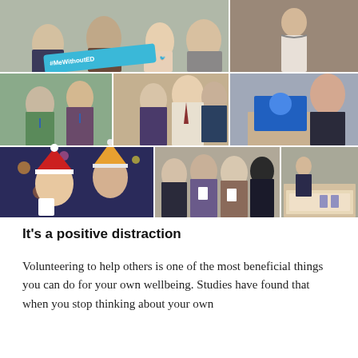[Figure (photo): Collage of nine photographs showing people at volunteering and wellbeing events. Top left: group of people holding a blue '#MeWithoutED' hashtag frame sign. Top right: person standing against a brick wall. Middle left: two women smiling together outdoors. Middle centre: man in shirt and tie with two women. Middle right: woman sitting at a table with a laptop. Bottom left: two young women wearing Santa hats at a Christmas event. Bottom centre: four women standing together smiling, wearing lanyards. Bottom right: woman presenting at the front of a room with tables and chairs.]
It’s a positive distraction
Volunteering to help others is one of the most beneficial things you can do for your own wellbeing. Studies have found that when you stop thinking about your own